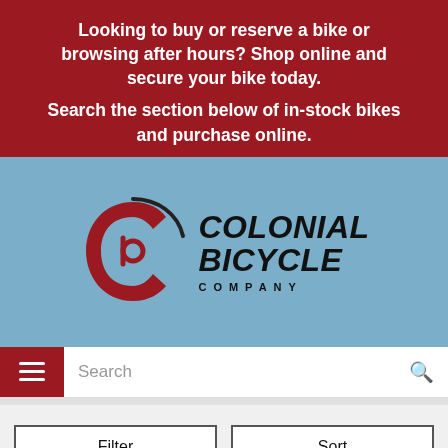Looking to buy or reserve a bike or browsing after hours? Shop online and secure your bike today.
Search the section below of in-stock bikes and purchase online.
[Figure (logo): Colonial Bicycle Company logo: circular 'C' shape with inner 'b' mark in dark red, next to bold italic text 'COLONIAL BICYCLE' with 'COMPANY' in spaced caps below]
Search
Filter
Sort
Bicycling Catalog > Bikes